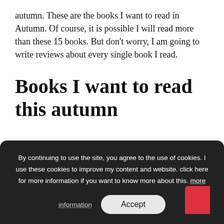autumn. These are the books I want to read in Autumn. Of course, it is possible I will read more than these 15 books. But don't worry, I am going to write reviews about every single book I read.
Books I want to read this autumn
By continuing to use the site, you agree to the use of cookies. I use these cookies to improve my content and website. click here for more information if you want to know more about this. more information  Accept